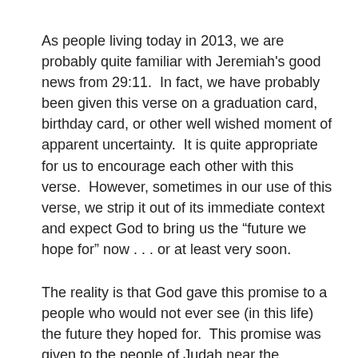As people living today in 2013, we are probably quite familiar with Jeremiah's good news from 29:11.  In fact, we have probably been given this verse on a graduation card, birthday card, or other well wished moment of apparent uncertainty.  It is quite appropriate for us to encourage each other with this verse.  However, sometimes in our use of this verse, we strip it out of its immediate context and expect God to bring us the “future we hope for” now . . . or at least very soon.
The reality is that God gave this promise to a people who would not ever see (in this life) the future they hoped for.  This promise was given to the people of Judah near the beginning of their 70 years in exile in Babylon.  Most of them would die in Babylon.  Most of their children would die in